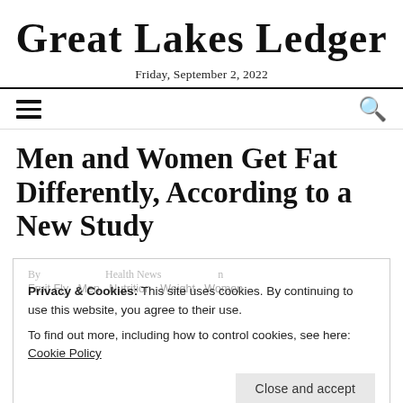Great Lakes Ledger
Friday, September 2, 2022
Men and Women Get Fat Differently, According to a New Study
Privacy & Cookies: This site uses cookies. By continuing to use this website, you agree to their use.
To find out more, including how to control cookies, see here: Cookie Policy
Close and accept